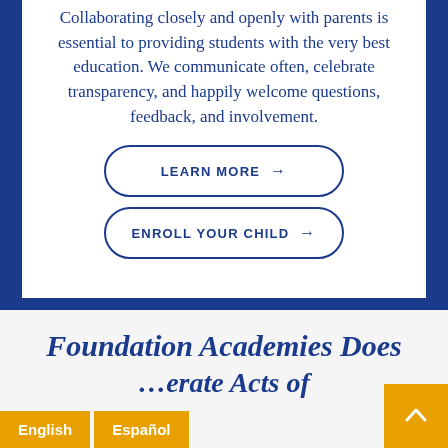Collaborating closely and openly with parents is essential to providing students with the very best education. We communicate often, celebrate transparency, and happily welcome questions, feedback, and involvement.
LEARN MORE →
ENROLL YOUR CHILD →
Foundation Academies Does ... erate Acts of
English | Español